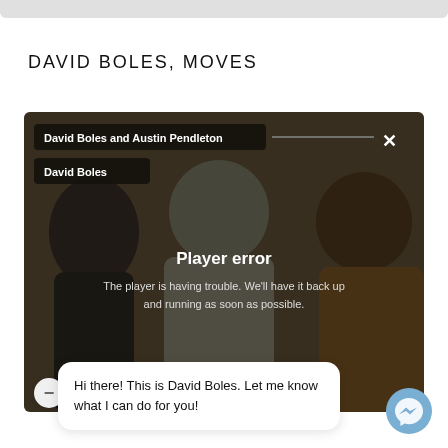DAVID BOLES, MOVES
[Figure (screenshot): Video player screenshot showing three people, with a 'Player error' overlay message. Tags at top read 'David Boles and Austin Pendleton' and 'David Boles'. A close button (X) appears at top right. Error message reads: 'Player error / The player is having trouble. We'll have it back up and running as soon as possible.']
Hi there! This is David Boles. Let me know what I can do for you!